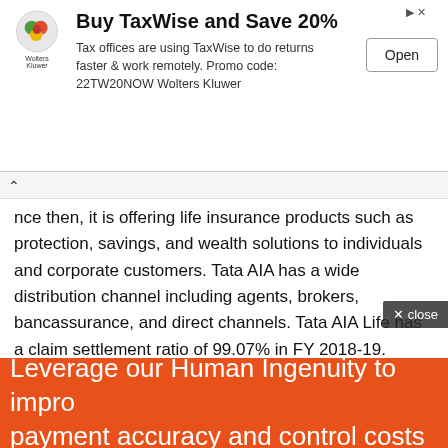[Figure (screenshot): Advertisement banner for TaxWise showing Wolters Kluwer logo, headline 'Buy TaxWise and Save 20%', body text about tax offices, promo code 22TW20NOW, and an Open button]
nce then, it is offering life insurance products such as protection, savings, and wealth solutions to individuals and corporate customers. Tata AIA has a wide distribution channel including agents, brokers, bancassurance, and direct channels. Tata AIA Life has a claim settlement ratio of 99.07% in FY 2018-19.
4. ICICI Prudential Life
is a joint venture between ICICI Bank and Prudential plc. ICICI Bank has 74% stakeholding and Prudential Plc holds a 26% stake in the joint venture. ICICI Prudential Life
[Figure (screenshot): Orange advertisement banner at bottom: 'Leverage our Human Ingenuity to improve payment accuracy and control costs']